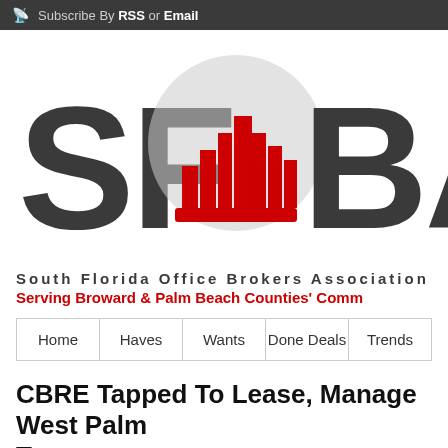Subscribe By RSS or Email
[Figure (logo): SFOBA - South Florida Office Brokers Association logo with red cityscape skyline inside a gray circle, large bold letters SF[skyline]BA]
South Florida Office Brokers Association
Serving Broward & Palm Beach Counties' Comm
| Home | Haves | Wants | Done Deals | Trends |
| --- | --- | --- | --- | --- |
CBRE Tapped To Lease, Manage West Palm Tower